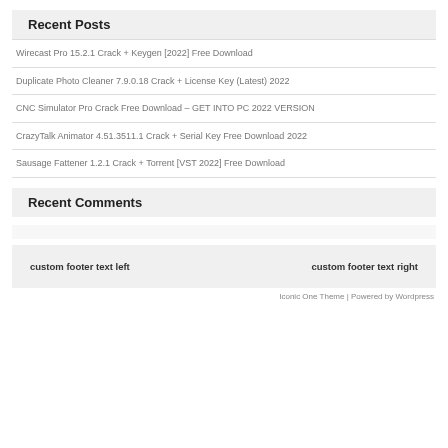Recent Posts
Wirecast Pro 15.2.1 Crack + Keygen [2022] Free Download
Duplicate Photo Cleaner 7.9.0.18 Crack + License Key (Latest) 2022
CNC Simulator Pro Crack Free Download – GET INTO PC 2022 VERSION
CrazyTalk Animator 4.51.3511.1 Crack + Serial Key Free Download 2022
Sausage Fattener 1.2.1 Crack + Torrent [VST 2022] Free Download
Recent Comments
custom footer text left    custom footer text right
Iconic One Theme | Powered by Wordpress